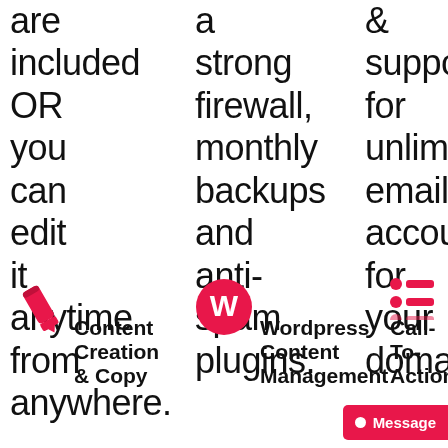are included OR you can edit it anytime from anywhere.
a strong firewall, monthly backups and anti-spam plugins.
& support for unlimited email accounts for your domain
Content Creation & Copy
Wordpress Content Management
Call-To-Action